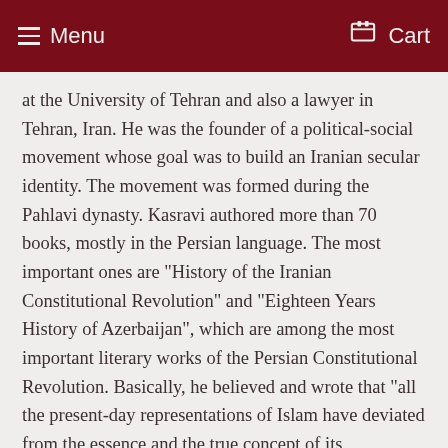Menu   Cart
at the University of Tehran and also a lawyer in Tehran, Iran. He was the founder of a political-social movement whose goal was to build an Iranian secular identity. The movement was formed during the Pahlavi dynasty. Kasravi authored more than 70 books, mostly in the Persian language. The most important ones are "History of the Iranian Constitutional Revolution" and "Eighteen Years History of Azerbaijan", which are among the most important literary works of the Persian Constitutional Revolution. Basically, he believed and wrote that "all the present-day representations of Islam have deviated from the essence and the true concept of its foundation". He was particularly critical of Shia (since its formation since the sixth emam, Emam Jafar Sadegh) and Sufism, to which he ascribed many ills, from its supposed promotion of stagnation, "irrationality" or even being a tool of the Orientalists. His main target in that field was the famous E. G. Browne, appreciated by